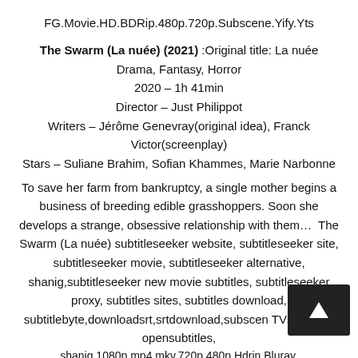FG.Movie.HD.BDRip.480p.720p.Subscene.Yify.Yts
The Swarm (La nuée) (2021) :Original title: La nuée
Drama, Fantasy, Horror
2020 – 1h 41min
Director – Just Philippot
Writers – Jérôme Genevray(original idea), Franck Victor(screenplay)
Stars – Suliane Brahim, Sofian Khammes, Marie Narbonne
To save her farm from bankruptcy, a single mother begins a business of breeding edible grasshoppers. Soon she develops a strange, obsessive relationship with them…  The Swarm (La nuée) subtitleseeker website, subtitleseeker site, subtitleseeker movie, subtitleseeker alternative, shanig,subtitleseeker new movie subtitles, subtitleseeker proxy, subtitles sites, subtitles download, subtitlebyte,downloadsrt,srtdownload,subscen TVsubtitles, opensubtitles,
shanig,1080p.mp4.mkv.720p.480p.Hdrin.Bluray.